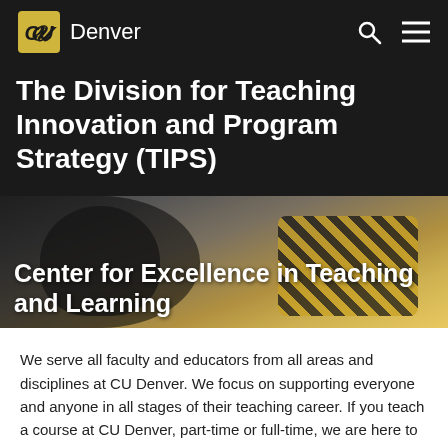CU Denver
The Division for Teaching Innovation and Program Strategy (TIPS)
[Figure (photo): Two students studying together, one wearing a yellow plaid jacket, working with a tablet device. Text overlay: Center for Excellence in Teaching and Learning]
We serve all faculty and educators from all areas and disciplines at CU Denver. We focus on supporting everyone and anyone in all stages of their teaching career. If you teach a course at CU Denver, part-time or full-time, we are here to support you.
All are welcome in CETL